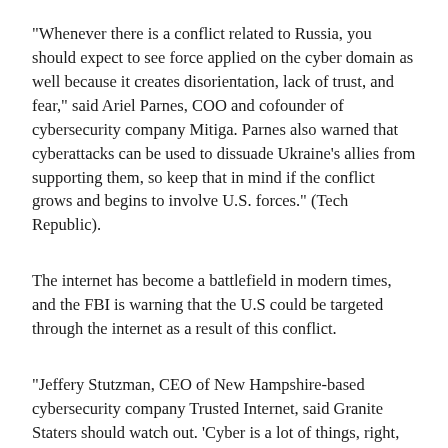“Whenever there is a conflict related to Russia, you should expect to see force applied on the cyber domain as well because it creates disorientation, lack of trust, and fear,” said Ariel Parnes, COO and cofounder of cybersecurity company Mitiga. Parnes also warned that cyberattacks can be used to dissuade Ukraine’s allies from supporting them, so keep that in mind if the conflict grows and begins to involve U.S. forces.” (Tech Republic).
The internet has become a battlefield in modern times, and the FBI is warning that the U.S could be targeted through the internet as a result of this conflict.
“Jeffery Stutzman, CEO of New Hampshire-based cybersecurity company Trusted Internet, said Granite Staters should watch out. ‘Cyber is a lot of things, right, it’s information, it’s psychological,’ Stutzman said. ‘The Russians…